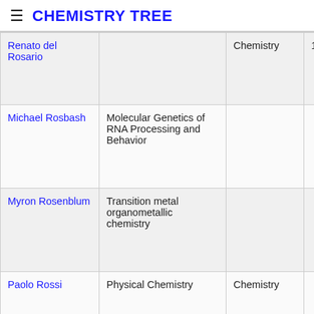≡ CHEMISTRY TREE
| Name | Dissertation | Field | Start | End |
| --- | --- | --- | --- | --- |
| Renato del Rosario |  | Chemistry | 1980 | 1985 |
| Michael Rosbash | Molecular Genetics of RNA Processing and Behavior |  |  |  |
| Myron Rosenblum | Transition metal organometallic chemistry |  |  |  |
| Paolo Rossi | Physical Chemistry | Chemistry |  | 2003 |
| Richard A. Roy | bacteriorhodopsin, evolution |  | 2012 | 2018 |